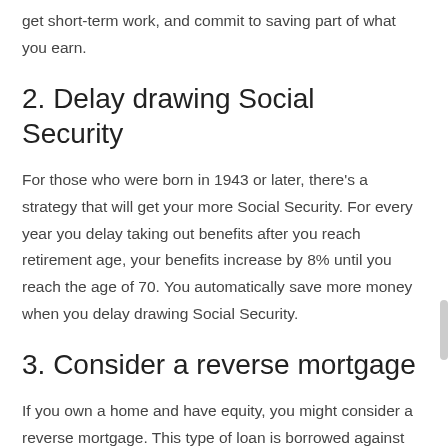get short-term work, and commit to saving part of what you earn.
2. Delay drawing Social Security
For those who were born in 1943 or later, there’s a strategy that will get your more Social Security. For every year you delay taking out benefits after you reach retirement age, your benefits increase by 8% until you reach the age of 70. You automatically save more money when you delay drawing Social Security.
3. Consider a reverse mortgage
If you own a home and have equity, you might consider a reverse mortgage. This type of loan is borrowed against the value of your